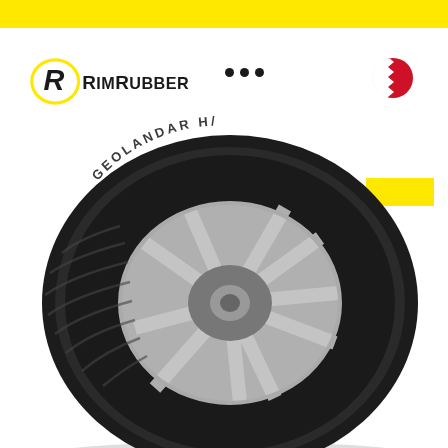[Figure (illustration): Yellow top banner bar]
[Figure (logo): RimRubber logo with stylized R in yellow oval and bold text RIMRUBBER]
[Figure (illustration): Three black dots (ellipsis/menu indicator)]
[Figure (illustration): Bahrain national flag icon - red and white with serrated divider]
[Figure (illustration): Yellow rectangle accent block on right side]
[Figure (photo): Yokohama Geolandar tire mounted on silver alloy wheel, photographed at angle showing tread pattern and sidewall branding]